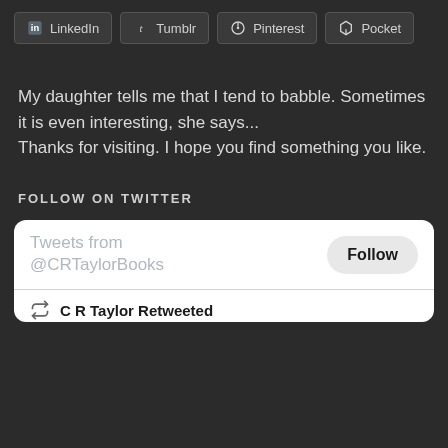[Figure (other): Social share buttons row: LinkedIn, Tumblr, Pinterest, Pocket]
My daughter tells me that I tend to babble. Sometimes it is even interesting, she says...
Thanks for visiting. I hope you find something you like.
FOLLOW ON TWITTER
[Figure (screenshot): Twitter widget showing 'Tweets from @CRTaylorBooks' with Follow button and 'C R Taylor Retweeted' entry]